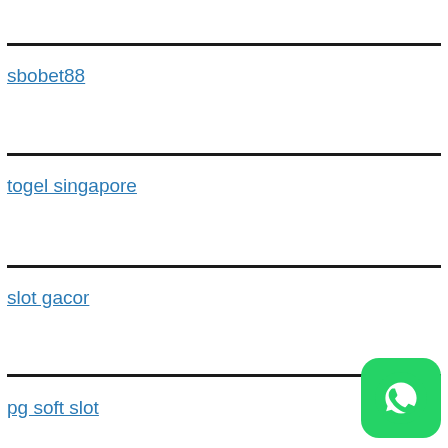sbobet88
togel singapore
slot gacor
[Figure (logo): WhatsApp green icon with phone handset]
pg soft slot